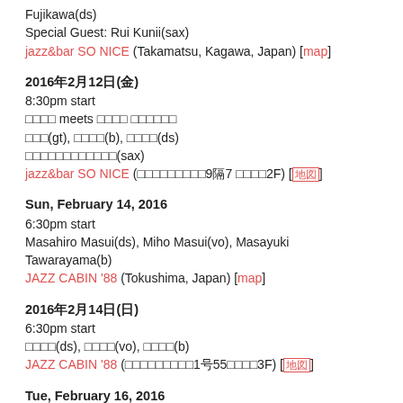Fujikawa(ds)
Special Guest: Rui Kunii(sax)
jazz&bar SO NICE (Takamatsu, Kagawa, Japan) [map]
2016年2月12日(金)
8:30pm start
□□□□ meets □□□□ □□□□□□
□□□(gt), □□□□(b), □□□□(ds)
□□□□□□□□□□□□(sax)
jazz&bar SO NICE (□□□□□□□□□9階7 □□□□2F) [地図]
Sun, February 14, 2016
6:30pm start
Masahiro Masui(ds), Miho Masui(vo), Masayuki Tawarayama(b)
JAZZ CABIN '88 (Tokushima, Japan) [map]
2016年2月14日(日)
6:30pm start
□□□□(ds), □□□□(vo), □□□□(b)
JAZZ CABIN '88 (□□□□□□□□□1号55□□□□3F) [地図]
Tue, February 16, 2016
8:00pm start
Yoichi Uzeki featuring Rui Kunii(sax)